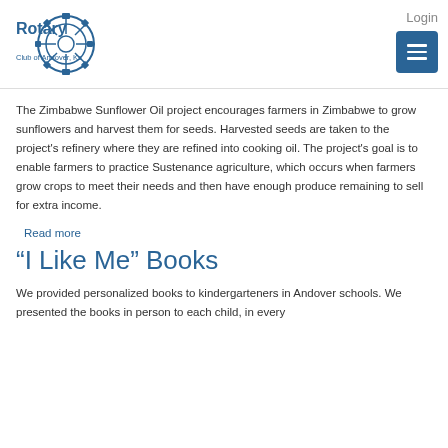[Figure (logo): Rotary Club of Andover, Ks logo with gear/wheel emblem in blue]
Login
[Figure (other): Blue hamburger menu button with three horizontal white lines]
The Zimbabwe Sunflower Oil project encourages farmers in Zimbabwe to grow sunflowers and harvest them for seeds. Harvested seeds are taken to the project's refinery where they are refined into cooking oil. The project's goal is to enable farmers to practice Sustenance agriculture, which occurs when farmers grow crops to meet their needs and then have enough produce remaining to sell for extra income.
Read more
“I Like Me” Books
We provided personalized books to kindergarteners in Andover schools. We presented the books in person to each child, in every